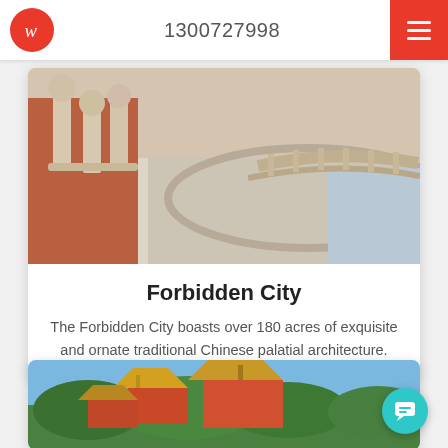1300727998
[Figure (photo): Photo of Forbidden City stone balustrades and paved courtyard with ornate carved pillars]
Forbidden City
The Forbidden City boasts over 180 acres of exquisite and ornate traditional Chinese palatial architecture.
[Figure (photo): Photo of a Chinese palace complex with yellow-roofed pagoda towers set against blue sky and green trees]